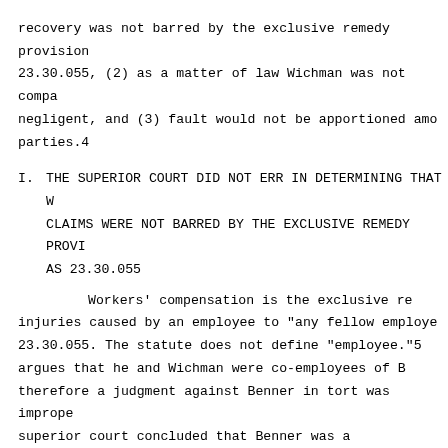recovery was not barred by the exclusive remedy provision 23.30.055, (2) as a matter of law Wichman was not compa negligent, and (3) fault would not be apportioned amo parties.4
I.    THE SUPERIOR COURT DID NOT ERR IN DETERMINING THAT W CLAIMS WERE NOT BARRED BY THE EXCLUSIVE REMEDY PROVI AS 23.30.055
Workers' compensation is the exclusive re injuries caused by an employee to "any fellow employe 23.30.055.  The statute does not define "employee."5 argues that he and Wichman were co-employees of B therefore a judgment against Benner in tort was imprope superior court concluded that Benner was a subcontractor, an employee.
As both parties note, Alaska has adopted the nature of the work" test for determining when a per